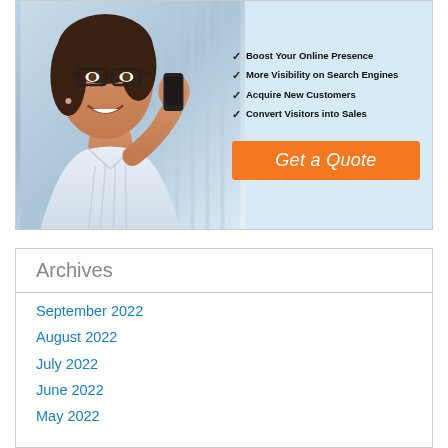[Figure (photo): Advertisement banner showing a businesswoman on a phone call with checkmarks listing: Boost Your Online Presence, More Visibility on Search Engines, Acquire New Customers, Convert Visitors into Sales, with an orange 'Get a Quote' button]
Archives
September 2022
August 2022
July 2022
June 2022
May 2022